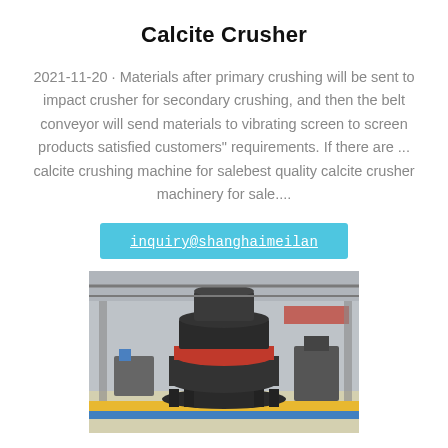Calcite Crusher
2021-11-20 · Materials after primary crushing will be sent to impact crusher for secondary crushing, and then the belt conveyor will send materials to vibrating screen to screen products satisfied customers" requirements. If there are ... calcite crushing machine for salebest quality calcite crusher machinery for sale....
inquiry@shanghaimeilan
[Figure (photo): Industrial calcite crusher machine (VSI crusher) on a factory floor, showing a large black vertical shaft impact crusher with red accent ring, surrounded by industrial equipment in a warehouse setting.]